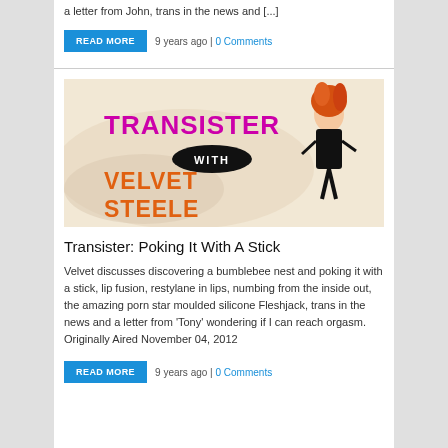a letter from John, trans in the news and [...]
READ MORE   9 years ago | 0 Comments
[Figure (illustration): Transister with Velvet Steele show logo — pink and orange text on a background with figures]
Transister: Poking It With A Stick
Velvet discusses discovering a bumblebee nest and poking it with a stick, lip fusion, restylane in lips, numbing from the inside out, the amazing porn star moulded silicone Fleshjack, trans in the news and a letter from 'Tony' wondering if I can reach orgasm. Originally Aired November 04, 2012
READ MORE   9 years ago | 0 Comments